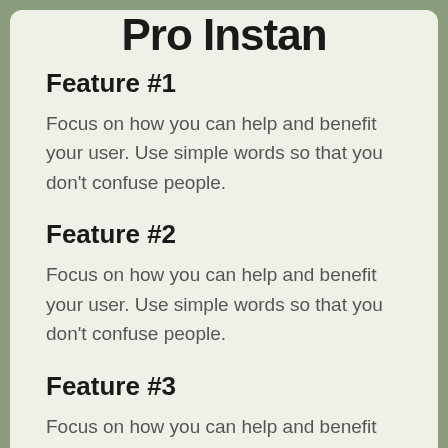Pro Instan
Feature #1
Focus on how you can help and benefit your user. Use simple words so that you don't confuse people.
Feature #2
Focus on how you can help and benefit your user. Use simple words so that you don't confuse people.
Feature #3
Focus on how you can help and benefit your user. Use simple words so that you don't confuse people.